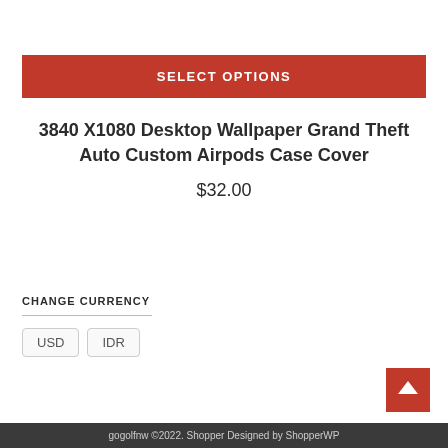SELECT OPTIONS
3840 X1080 Desktop Wallpaper Grand Theft Auto Custom Airpods Case Cover
$32.00
CHANGE CURRENCY
USD  IDR
gogolfnw ©2022. Shopper Designed by ShopperWP